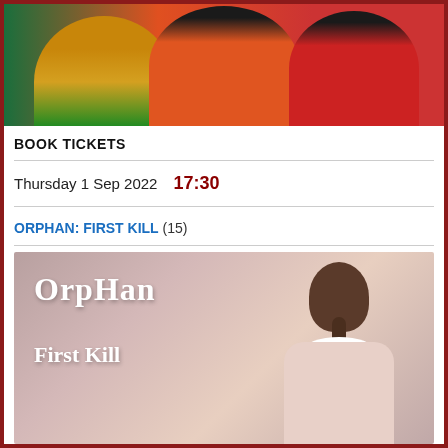[Figure (photo): Top portion of movie poster or promotional image showing three people in colorful costumes against a colorful background]
BOOK TICKETS
Thursday 1 Sep 2022   17:30
ORPHAN: FIRST KILL (15)
[Figure (photo): Movie poster for Orphan: First Kill showing 'Orphan First Kill' text on the left and a girl viewed from behind with braided hair, white collar dress with blood stains on the right, against a pink-grey gradient background]